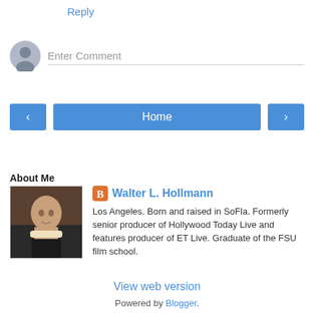Reply
Enter Comment
Home
View web version
About Me
[Figure (photo): Profile photo of Walter L. Hollmann]
Walter L. Hollmann
Los Angeles. Born and raised in SoFla. Formerly senior producer of Hollywood Today Live and features producer of ET Live. Graduate of the FSU film school.
View my complete profile
Powered by Blogger.